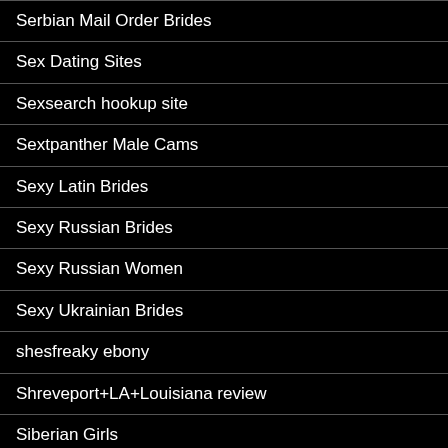Serbian Mail Order Brides
Sex Dating Sites
Sexsearch hookup site
Sextpanther Male Cams
Sexy Latin Brides
Sexy Russian Brides
Sexy Russian Women
Sexy Ukrainian Brides
shesfreaky ebony
Shreveport+LA+Louisiana review
Siberian Girls
Simple Fast Loans